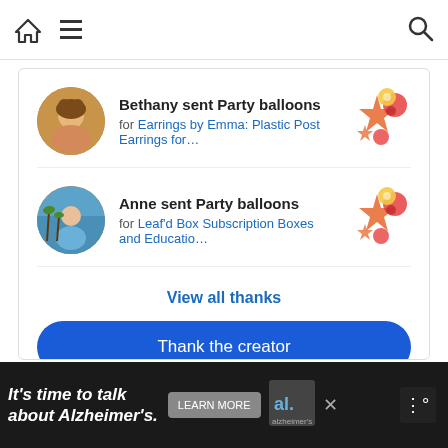Navigation bar with home, menu, and search icons
Bethany sent Party balloons for Earrings by Emma: Plastic Post Earrings for…
Anne sent Party balloons for Leaf'd Box Subscription Boxes and Educatio…
View all thanks
Thank the creator
It's time to talk about Alzheimer's. LEARN MORE